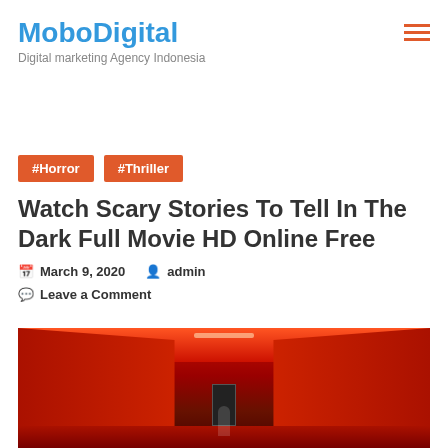MoboDigital — Digital marketing Agency Indonesia
#Horror
#Thriller
Watch Scary Stories To Tell In The Dark Full Movie HD Online Free
March 9, 2020  admin
Leave a Comment
[Figure (photo): Dark red-lit horror corridor with a figure standing at the far end, bathed in red light]